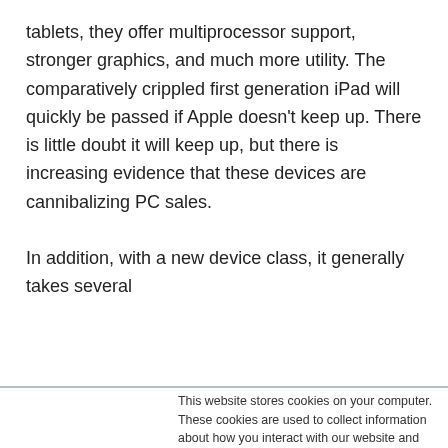tablets, they offer multiprocessor support, stronger graphics, and much more utility. The comparatively crippled first generation iPad will quickly be passed if Apple doesn't keep up. There is little doubt it will keep up, but there is increasing evidence that these devices are cannibalizing PC sales.

In addition, with a new device class, it generally takes several
This website stores cookies on your computer. These cookies are used to collect information about how you interact with our website and allow us to remember you. We use this information in order to improve and customize your browsing experience and for analytics and metrics about our visitors both on this website and other media. To find out more about the cookies we use, see our Privacy Policy. California residents have the right to direct us not to sell their personal information to third parties by filing an Opt-Out Request: Do Not Sell My Personal Info.
Accept